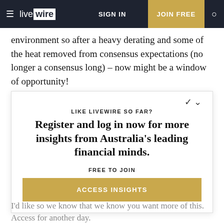live wire | SIGN IN | JOIN FREE
environment so after a heavy derating and some of the heat removed from consensus expectations (no longer a consensus long) – now might be a window of opportunity!
[Figure (infographic): Livewire registration prompt modal box with text 'LIKE LIVEWIRE SO FAR?', headline 'Register and log in now for more insights from Australia's leading financial minds.', 'FREE TO JOIN', and 'ACCESS INSIGHTS' button]
I'd like so we know that we know you want more of this. Access for another day.